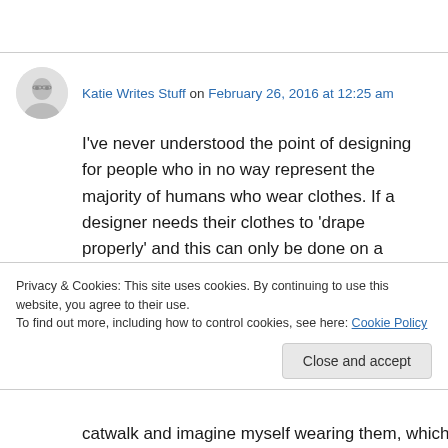[Figure (illustration): Avatar image of commenter Katie Writes Stuff, showing a person with glasses]
Katie Writes Stuff on February 26, 2016 at 12:25 am
I've never understood the point of designing for people who in no way represent the majority of humans who wear clothes. If a designer needs their clothes to 'drape properly' and this can only be done on a woman who has no curves whatsoever, then perhaps they should be
Privacy & Cookies: This site uses cookies. By continuing to use this website, you agree to their use.
To find out more, including how to control cookies, see here: Cookie Policy
catwalk and imagine myself wearing them, which